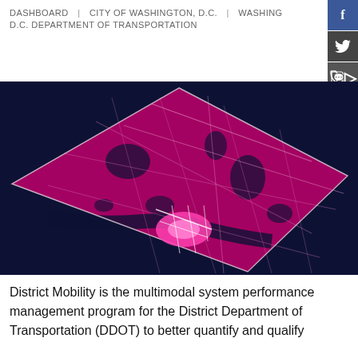DASHBOARD | CITY OF WASHINGTON, D.C. | WASHINGTON, D.C. DEPARTMENT OF TRANSPORTATION
[Figure (map): A dark navy background map of Washington D.C. rendered in vivid magenta/pink showing the city boundary and road network. The city appears as a diamond shape with bright pink roads and boundaries visible against the dark background.]
District Mobility is the multimodal system performance management program for the District Department of Transportation (DDOT) to better quantify and qualify